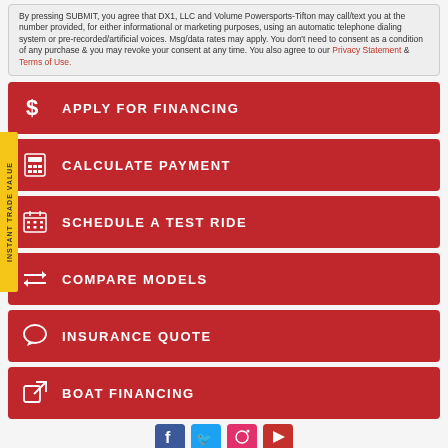By pressing SUBMIT, you agree that DX1, LLC and Volume Powersports-Tifton may call/text you at the number provided, for either informational or marketing purposes, using an automatic telephone dialing system or pre-recorded/artificial voices. Msg/data rates may apply. You don't need to consent as a condition of any purchase & you may revoke your consent at any time. You also agree to our Privacy Statement & Terms of Use.
APPLY FOR FINANCING
CALCULATE PAYMENT
SCHEDULE A TEST RIDE
COMPARE MODELS
INSURANCE QUOTE
BOAT FINANCING